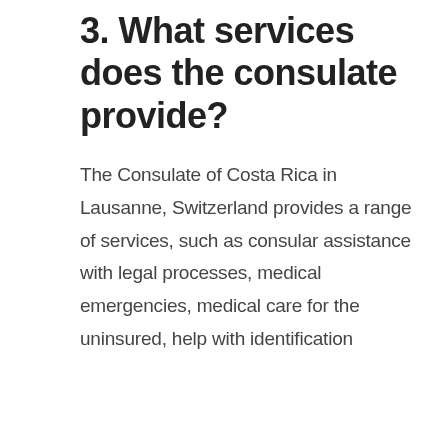3. What services does the consulate provide?
The Consulate of Costa Rica in Lausanne, Switzerland provides a range of services, such as consular assistance with legal processes, medical emergencies, medical care for the uninsured, help with identification documents, locate missing relatives, assistance to victims of domestic violence